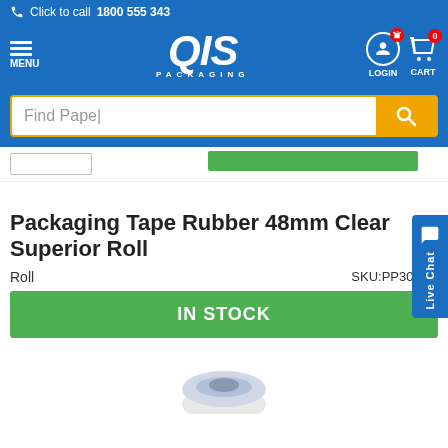Click to call 1800 555 343
[Figure (logo): QIS Packaging logo with menu, login and cart icons]
Find Pape|
Packaging Tape Rubber 48mm Clear Superior Roll
Roll    SKU:PP30TR4
IN STOCK
[Figure (photo): Partially visible product image of packaging tape roll at bottom of page]